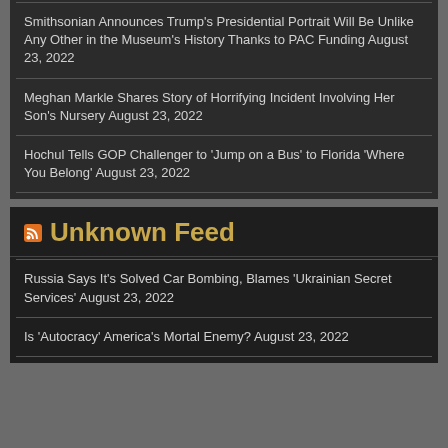Smithsonian Announces Trump's Presidential Portrait Will Be Unlike Any Other in the Museum's History Thanks to PAC Funding August 23, 2022
Meghan Markle Shares Story of Horrifying Incident Involving Her Son's Nursery August 23, 2022
Hochul Tells GOP Challenger to 'Jump on a Bus' to Florida 'Where You Belong' August 23, 2022
Unknown Feed
Russia Says It's Solved Car Bombing, Blames 'Ukrainian Secret Services' August 23, 2022
Is 'Autocracy' America's Mortal Enemy? August 23, 2022